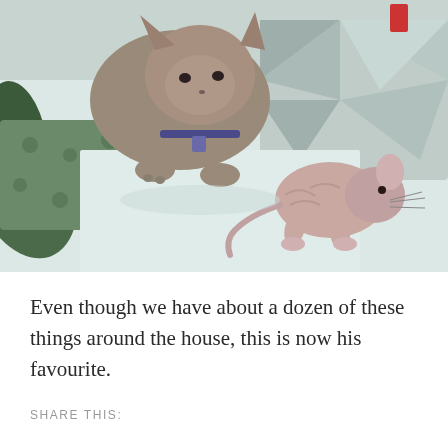[Figure (photo): A gray cat wearing a collar with a tag leaning down sniffing a hairless rat/rodent toy lying on light blue-white bedding with geometric patterned pillows in the background.]
Even though we have about a dozen of these things around the house, this is now his favourite.
SHARE THIS: